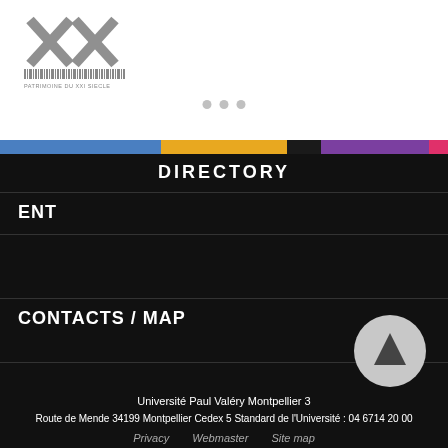[Figure (logo): XX stylized logo with horizontal bar and text 'PATRIMOINE DU XXI SIECLE']
[Figure (other): Three gray dots carousel indicators]
[Figure (other): Color stripe bar: blue, gold, dark, purple, pink]
DIRECTORY
ENT
CONTACTS / MAP
[Figure (other): Gray circle with upward arrow icon]
Université Paul Valéry Montpellier 3
Route de Mende 34199 Montpellier Cedex 5 Standard de l'Université : 04 6714 20 00
Privacy   Webmaster   Site map